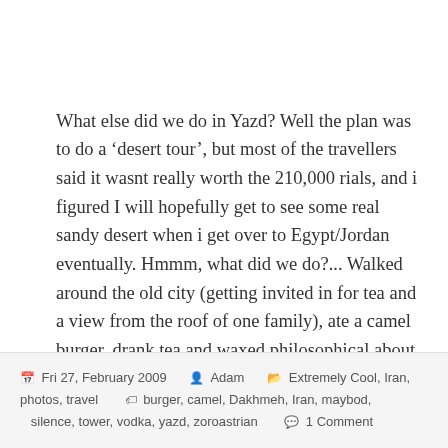What else did we do in Yazd? Well the plan was to do a ‘desert tour’, but most of the travellers said it wasnt really worth the 210,000 rials, and i figured I will hopefully get to see some real sandy desert when i get over to Egypt/Jordan eventually. Hmmm, what did we do?... Walked around the old city (getting invited in for tea and a view from the roof of one family), ate a camel burger, drank tea and waxed philosophical about life & religion – what else to do when there’s no real beer around.
Fri 27, February 2009  Adam  Extremely Cool, Iran, photos, travel  burger, camel, Dakhmeh, Iran, maybod, silence, tower, vodka, yazd, zoroastrian  1 Comment